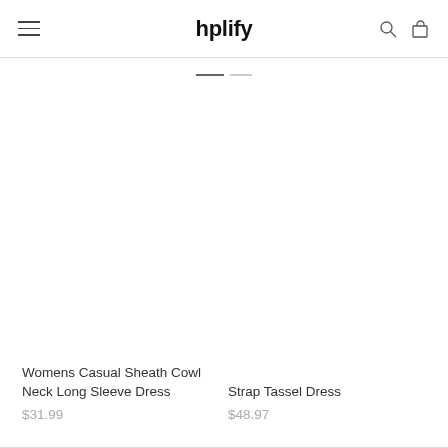hplify
Womens Casual Sheath Cowl Neck Long Sleeve Dress
$31.99
Strap Tassel Dress
$48.97